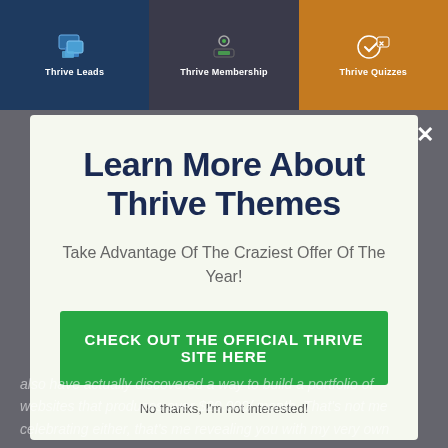[Figure (screenshot): Top product banner strip showing three Thrive product cards: Thrive Leads (dark blue), Thrive Membership (dark gray), Thrive Quizzes (orange)]
Learn More About Thrive Themes
Take Advantage Of The Craziest Offer Of The Year!
CHECK OUT THE OFFICIAL THRIVE SITE HERE
No thanks, I'm not interested!
also have actually discovered a way to build a portfolio of websites that produces over $20,000/ month. That's not me celebrating either, that's me revealing you with my very own